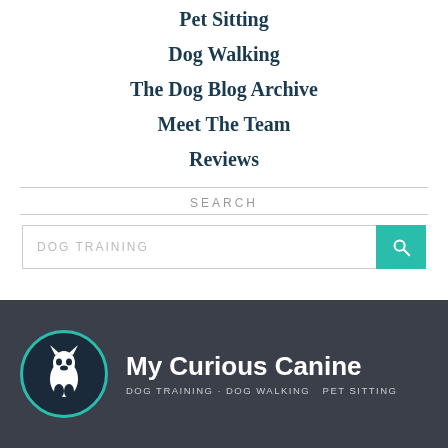Pet Sitting
Dog Walking
The Dog Blog Archive
Meet The Team
Reviews
SEARCH
[Figure (screenshot): Search input box with placeholder text 'DOG TRAINING' and a teal search button with magnifying glass icon]
[Figure (logo): My Curious Canine logo: teal-bordered dark circle with white husky dog icon, next to white text 'My Curious Canine' and subtitle 'DOG TRAINING · DOG WALKING PET SITTING' on dark background]